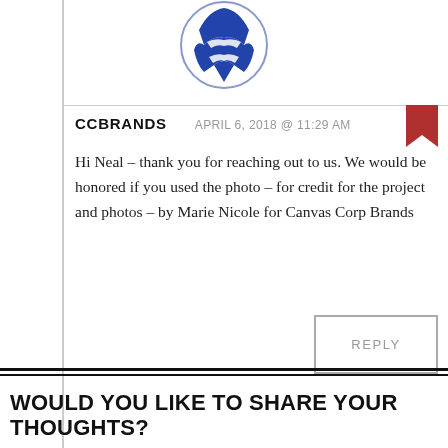[Figure (logo): Circular avatar/logo with blue and white design featuring abstract bird or figure shapes]
CCBRANDS   APRIL 6, 2018 @ 11:29 AM
Hi Neal – thank you for reaching out to us. We would be honored if you used the photo – for credit for the project and photos – by Marie Nicole for Canvas Corp Brands
REPLY
WOULD YOU LIKE TO SHARE YOUR THOUGHTS?